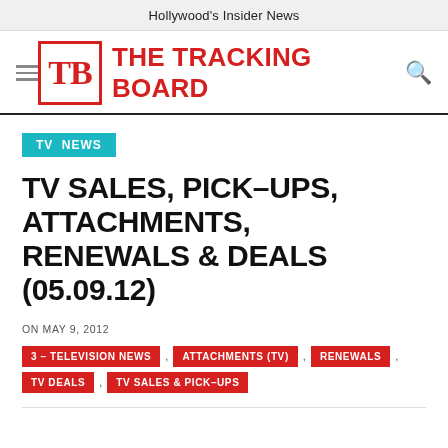Hollywood's Insider News
[Figure (logo): The Tracking Board logo with TB monogram in red box and site name in red bold text]
TV NEWS
TV SALES, PICK-UPS, ATTACHMENTS, RENEWALS & DEALS (05.09.12)
ON MAY 9, 2012
3 – TELEVISION NEWS , ATTACHMENTS (TV) , RENEWALS , TV DEALS , TV SALES & PICK-UPS